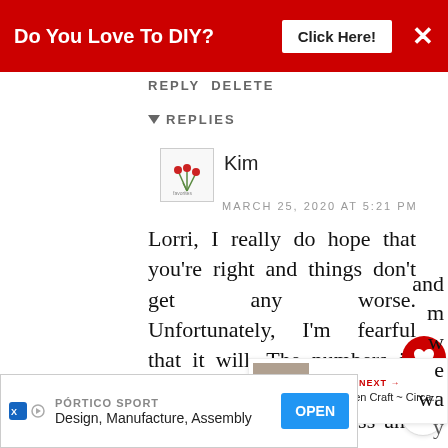[Figure (screenshot): Red advertisement banner at top: 'Do You Love To DIY? Click Here!' with X close button]
REPLY DELETE
REPLIES
Kim
MARCH 25, 2020 AT 5:21 PM
Lorri, I really do hope that you're right and things don't get any worse. Unfortunately, I'm fearful that it will. The numbers in my area are staggering. [I've] been watching less and more fun shows and [more]
[Figure (screenshot): What's Next widget showing 'Halloween Craft ~ Circa...' with thumbnail image]
[Figure (screenshot): Bottom advertisement: Portico Sport - Design, Manufacture, Assembly - OPEN button]